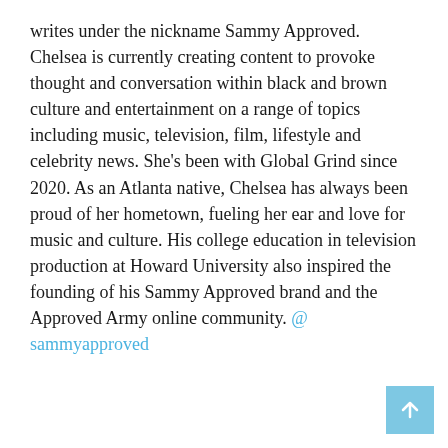writes under the nickname Sammy Approved. Chelsea is currently creating content to provoke thought and conversation within black and brown culture and entertainment on a range of topics including music, television, film, lifestyle and celebrity news. She's been with Global Grind since 2020. As an Atlanta native, Chelsea has always been proud of her hometown, fueling her ear and love for music and culture. His college education in television production at Howard University also inspired the founding of his Sammy Approved brand and the Approved Army online community. @sammyapproved